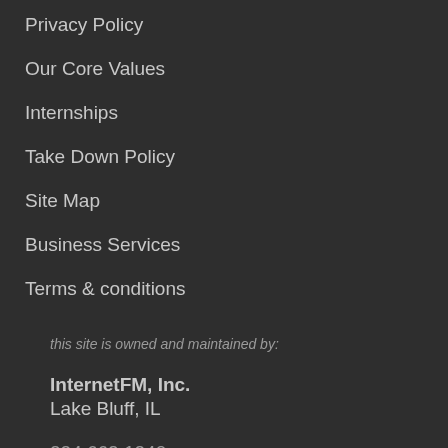Privacy Policy
Our Core Values
Internships
Take Down Policy
Site Map
Business Services
Terms & conditions
this site is owned and maintained by:
InternetFM, Inc.
Lake Bluff, IL
224.662.1240